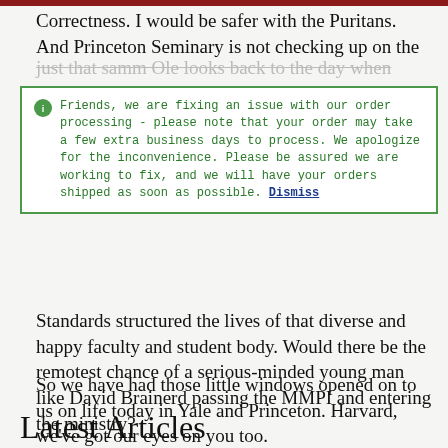Correctness. I would be safer with the Puritans. And Princeton Seminary is not checking up on the
Friends, we are fixing an issue with our order processing - please note that your order may take a few extra business days to process. We apologize for the inconvenience. Please be assured we are working to fix, and we will have your orders shipped as soon as possible. Dismiss
Standards structured the lives of that diverse and happy faculty and student body. Would there be the remotest chance of a serious-minded young man like David Brainerd passing the MMPI and entering the ministry?
So we have had those little windows opened on to us on life today in Yale and Princeton. Harvard, we've got our eyes on you too.
Latest Articles